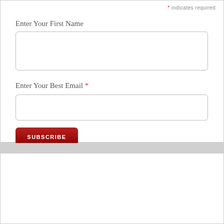* indicates required
Enter Your First Name
Enter Your Best Email *
SUBSCRIBE
[Figure (screenshot): Promotional banner: FREE WITH A 30 DAY TRIAL / Works with Apple and iPod]
DOWNLOAD A
FREE